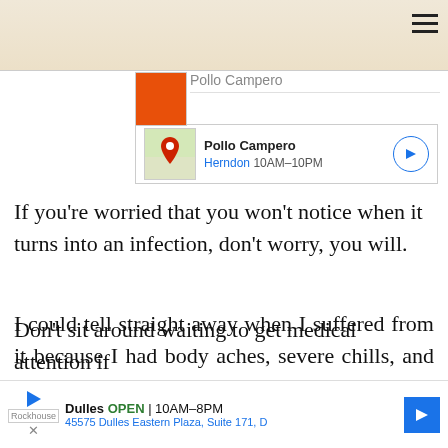[Figure (screenshot): Pollo Campero restaurant ad card with map thumbnail, name, location Herndon, hours 10AM-10PM, and navigation arrow button]
If you're worried that you won't notice when it turns into an infection, don't worry, you will.
I could tell straight away when I suffered from it because I had body aches, severe chills, and high fever.
Don't sit around waiting to get medical attention if
[Figure (screenshot): Bottom ad banner: Dulles OPEN 10AM-8PM, 45575 Dulles Eastern Plaza, Suite 171, D — with navigation arrow]